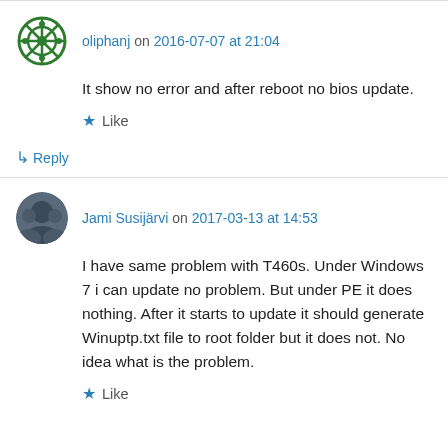oliphanj on 2016-07-07 at 21:04
It show no error and after reboot no bios update.
Like
Reply
Jami Susijärvi on 2017-03-13 at 14:53
I have same problem with T460s. Under Windows 7 i can update no problem. But under PE it does nothing. After it starts to update it should generate Winuptp.txt file to root folder but it does not. No idea what is the problem.
Like